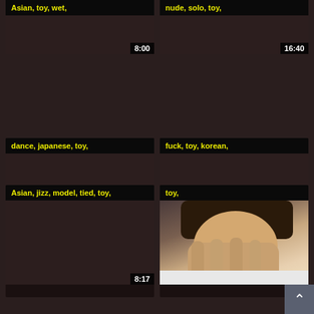[Figure (screenshot): Video thumbnail grid showing adult content tags and durations. Top row: 'Asian, toy, wet,' (8:00) and 'nude, solo, toy,' (16:40). Middle row: 'dance, japanese, toy,' (6:40) and 'fuck, toy, korean,' (10:31). Bottom row: 'Asian, jizz, model, tied, toy,' (8:17) and 'toy,' with photo of person covering face.]